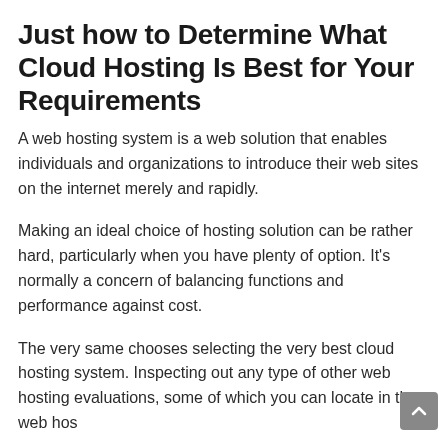Just how to Determine What Cloud Hosting Is Best for Your Requirements
A web hosting system is a web solution that enables individuals and organizations to introduce their web sites on the internet merely and rapidly.
Making an ideal choice of hosting solution can be rather hard, particularly when you have plenty of option. It's normally a concern of balancing functions and performance against cost.
The very same chooses selecting the very best cloud hosting system. Inspecting out any type of other web hosting evaluations, some of which you can locate in the web hos